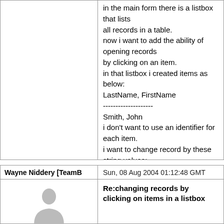in the main form there is a listbox that lists
all records in a table.
now i want to add the ability of opening records
by clicking on an item.
in that listbox i created items as below:
LastName, FirstName
--------------------
Smith, John
i don't want to use an identifier for each item.
i want to change record by these string values:
(lastname, firstname)
i'm using a TTABLE to connect to database.
thanks,
Dan
Wayne Niddery [TeamB
Sun, 08 Aug 2004 01:12:48 GMT
Re:changing records by clicking on items in a listbox